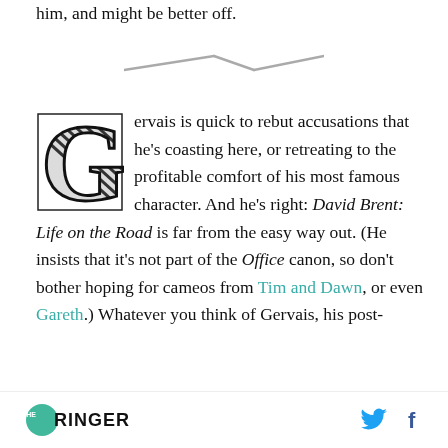him, and might be better off.
[Figure (illustration): Decorative divider: two diagonal parallel lines forming a zigzag separator]
Gervais is quick to rebut accusations that he’s coasting here, or retreating to the profitable comfort of his most famous character. And he’s right: David Brent: Life on the Road is far from the easy way out. (He insists that it’s not part of the Office canon, so don’t bother hoping for cameos from Tim and Dawn, or even Gareth.) Whatever you think of Gervais, his post-
THE RINGER